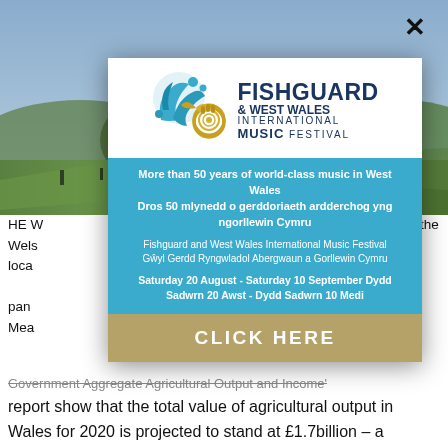[Figure (photo): Welsh countryside/hills landscape background photo with green fields and hills]
[Figure (logo): Fishguard & West Wales International Music Festival logo with blue wave/floral design and golden French horn]
More than 50 years of world-class music in West Wales
Dros 50 mlynedd o gerddoriaeth ardderchog yng ngorllewin Cymru
Fishguard and West Wales International Music Festival
Gŵyl Gerdd Ryngwladol Abergwaun a Gorllewin Cymru
Saturday 20 August - Saturday 10 September Dydd Sadwrn 20 Awst - Dydd Sadwrn 10 Medi
CLICK HERE
HE Welsh Government's 'Aggregate Agricultural Output and Income' report show that the total value of agricultural output in Wales for 2020 is projected to stand at £1.7billion – a